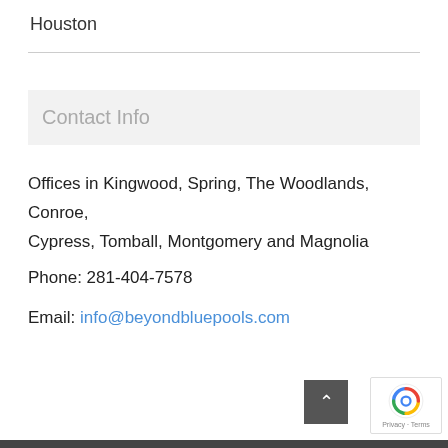Houston
Contact Info
Offices in Kingwood, Spring, The Woodlands, Conroe, Cypress, Tomball, Montgomery and Magnolia
Phone: 281-404-7578
Email: info@beyondbluepools.com
Privacy · Terms